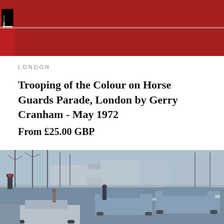[Figure (photo): Row of royal guards in red uniforms with black bearskin hats, standing at attention in a line]
LONDON
Trooping of the Colour on Horse Guards Parade, London by Gerry Cranham - May 1972
From £25.00 GBP
[Figure (photo): Busy street scene in Paris showing the Champs-Élysées with the Arc de Triomphe in the background, vintage 1970s cars, bare winter trees lining the boulevard, pedestrians crossing, blue-tinted vintage photograph]